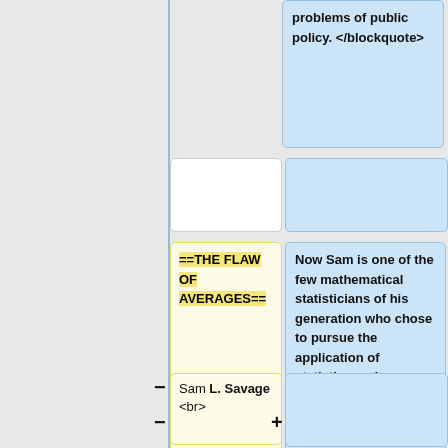problems of public policy. </blockquote>
==THE FLAW OF AVERAGES==
Now Sam is one of the few mathematical statisticians of his generation who chose to pursue the application of statistics and probability principles and concepts to problems of public policy.
Sam L. Savage <br>